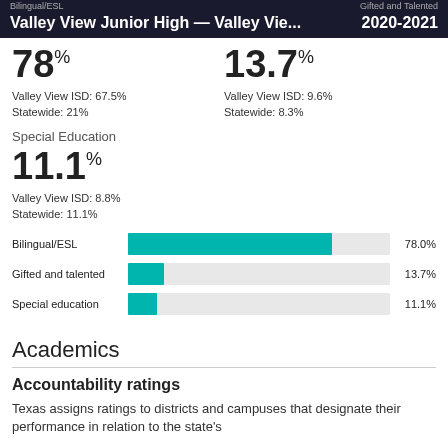Valley View Junior High — Valley Vie... 2020-2021
78 %
Valley View ISD: 67.5%
Statewide: 21%
13.7 %
Valley View ISD: 9.6%
Statewide: 8.3%
Special Education
11.1 %
Valley View ISD: 8.8%
Statewide: 11.1%
[Figure (bar-chart): Student programs]
Academics
Accountability ratings
Texas assigns ratings to districts and campuses that designate their performance in relation to the state's